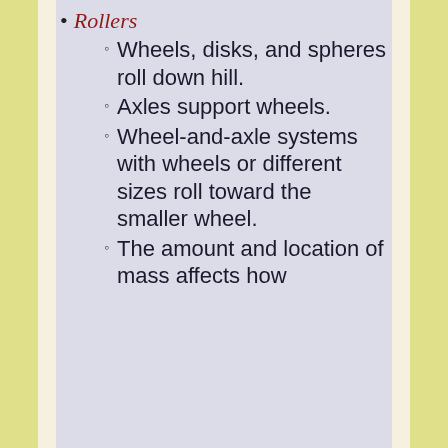Rollers
Wheels, disks, and spheres roll down hill.
Axles support wheels.
Wheel-and-axle systems with wheels or different sizes roll toward the smaller wheel.
The amount and location of mass affects how